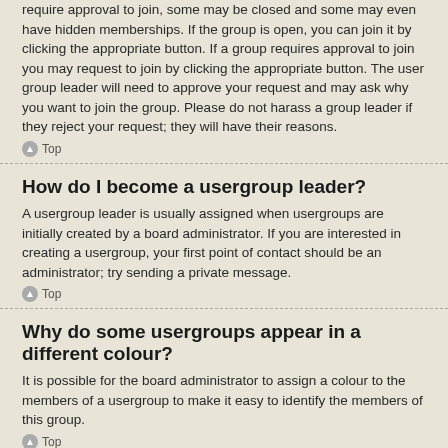require approval to join, some may be closed and some may even have hidden memberships. If the group is open, you can join it by clicking the appropriate button. If a group requires approval to join you may request to join by clicking the appropriate button. The user group leader will need to approve your request and may ask why you want to join the group. Please do not harass a group leader if they reject your request; they will have their reasons.
Top
How do I become a usergroup leader?
A usergroup leader is usually assigned when usergroups are initially created by a board administrator. If you are interested in creating a usergroup, your first point of contact should be an administrator; try sending a private message.
Top
Why do some usergroups appear in a different colour?
It is possible for the board administrator to assign a colour to the members of a usergroup to make it easy to identify the members of this group.
Top